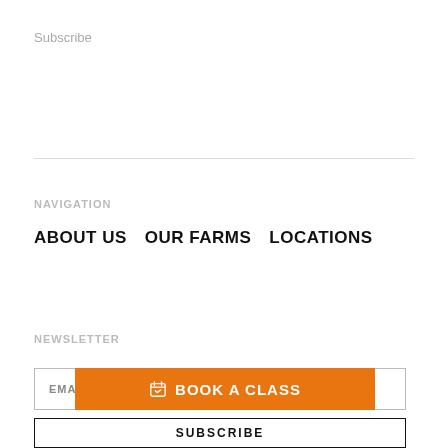Subscribe
NAVIGATION
ABOUT US
OUR FARMS
LOCATIONS
NEWSLETTER
EMAIL
BOOK A CLASS
SUBSCRIBE